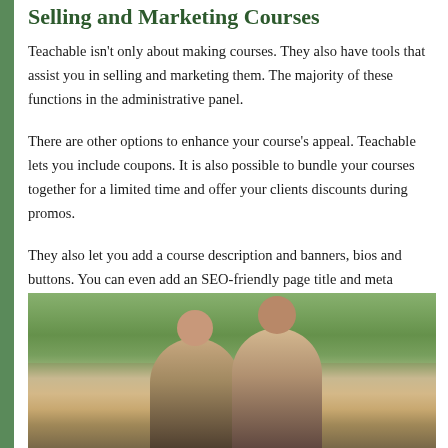Selling and Marketing Courses
Teachable isn't only about making courses. They also have tools that assist you in selling and marketing them. The majority of these functions in the administrative panel.
There are other options to enhance your course's appeal. Teachable lets you include coupons. It is also possible to bundle your courses together for a limited time and offer your clients discounts during promos.
They also let you add a course description and banners, bios and buttons. You can even add an SEO-friendly page title and meta description.
[Figure (photo): Two young men outdoors among trees, looking at something together and smiling]